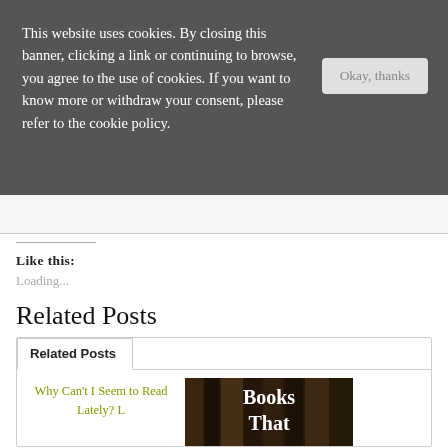This website uses cookies. By closing this banner, clicking a link or continuing to browse, you agree to the use of cookies. If you want to know more or withdraw your consent, please refer to the cookie policy.
Okay, thanks
Like this:
Loading...
Related Posts
Related Posts
Why Can't I Seem to Read Lately? L
[Figure (photo): Book cover image with text 'Books That' overlaid in white bold serif font on a dark background showing old books]